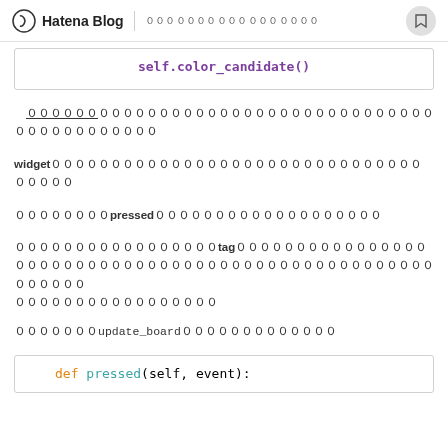Hatena Blog | ００００００００００００００００
self.color_candidate()
００００００００００００００００００００００００００００００００００００００００
widget００００００００００００００００００００００００００００００００００００
０００００００００pressed０００００００００００００００００００
０００００００００００００００００tag０００００００００００００００００００００００００００００００００００００００００００００００００００００００
０００００００update_board０００００００００００００
def pressed(self, event):